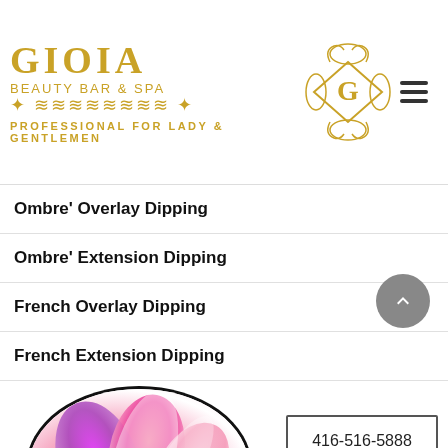[Figure (logo): Gioia Beauty Bar & Spa logo with gold text, ornamental scrollwork, and a diamond-shaped emblem with G initial. Tagline: PROFESSIONAL FOR LADY & GENTLEMEN]
Ombre' Overlay Dipping
Ombre' Extension Dipping
French Overlay Dipping
French Extension Dipping
[Figure (photo): Pink and purple orchid flower in a circular crop at the bottom of the page]
416-516-5888
Booking